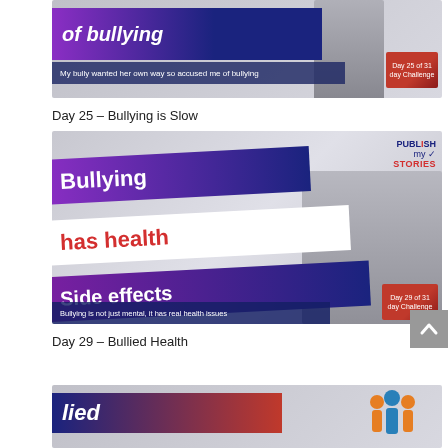[Figure (photo): Blog post thumbnail for Day 25 – Bullying is Slow. Shows 'of bullying' in white bold italic text on dark blue-purple banner, with subtitle 'My bully wanted her own way so accused me of bullying', Day 25 of 31 day Challenge badge, and a person sitting in chair.]
Day 25 – Bullying is Slow
[Figure (photo): Blog post thumbnail for Day 29 – Bullied Health. Shows 'Bullying' on dark banner, 'has health' in red on white banner, 'Side effects' on dark banner, subtitle 'Bullying is not just mental, it has real health issues', Day 29 of 31 day Challenge badge, Publish my Stories logo, and a person leaning on a dark board.]
Day 29 – Bullied Health
[Figure (photo): Partial blog post thumbnail at bottom showing a dark blue-red gradient banner with italic bold text beginning with 'lied', and colorful people icons on the right.]